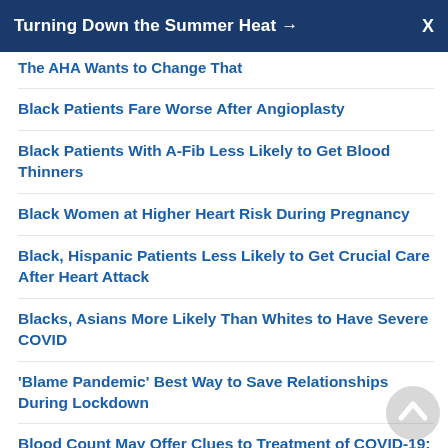Turning Down the Summer Heat →  X
The AHA Wants to Change That
Black Patients Fare Worse After Angioplasty
Black Patients With A-Fib Less Likely to Get Blood Thinners
Black Women at Higher Heart Risk During Pregnancy
Black, Hispanic Patients Less Likely to Get Crucial Care After Heart Attack
Blacks, Asians More Likely Than Whites to Have Severe COVID
'Blame Pandemic' Best Way to Save Relationships During Lockdown
Blood Count May Offer Clues to Treatment of COVID-19: Study
Blood Pressure During Surgery May Be Crucial After